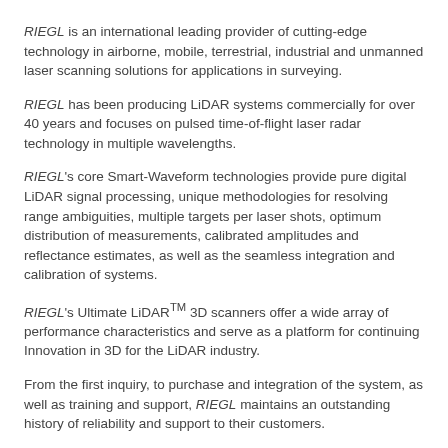RIEGL is an international leading provider of cutting-edge technology in airborne, mobile, terrestrial, industrial and unmanned laser scanning solutions for applications in surveying.
RIEGL has been producing LiDAR systems commercially for over 40 years and focuses on pulsed time-of-flight laser radar technology in multiple wavelengths.
RIEGL's core Smart-Waveform technologies provide pure digital LiDAR signal processing, unique methodologies for resolving range ambiguities, multiple targets per laser shots, optimum distribution of measurements, calibrated amplitudes and reflectance estimates, as well as the seamless integration and calibration of systems.
RIEGL's Ultimate LiDAR™ 3D scanners offer a wide array of performance characteristics and serve as a platform for continuing Innovation in 3D for the LiDAR industry.
From the first inquiry, to purchase and integration of the system, as well as training and support, RIEGL maintains an outstanding history of reliability and support to their customers.